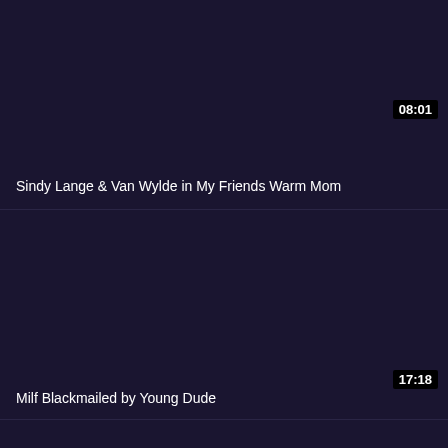[Figure (screenshot): Dark navy/purple video thumbnail placeholder for first video]
08:01
Sindy Lange & Van Wylde in My Friends Warm Mom
[Figure (screenshot): Dark navy/purple video thumbnail placeholder for second video]
17:18
Milf Blackmailed by Young Dude